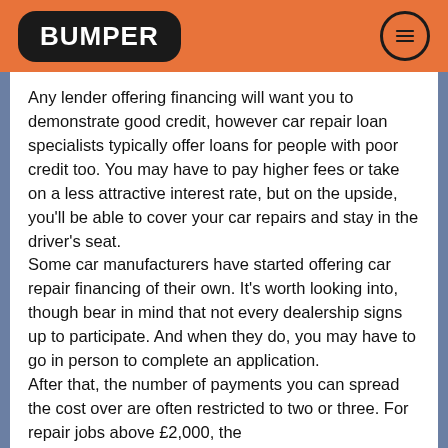BUMPER
Any lender offering financing will want you to demonstrate good credit, however car repair loan specialists typically offer loans for people with poor credit too. You may have to pay higher fees or take on a less attractive interest rate, but on the upside, you'll be able to cover your car repairs and stay in the driver's seat.
Some car manufacturers have started offering car repair financing of their own. It's worth looking into, though bear in mind that not every dealership signs up to participate. And when they do, you may have to go in person to complete an application.
After that, the number of payments you can spread the cost over are often restricted to two or three. For repair jobs above £2,000, the